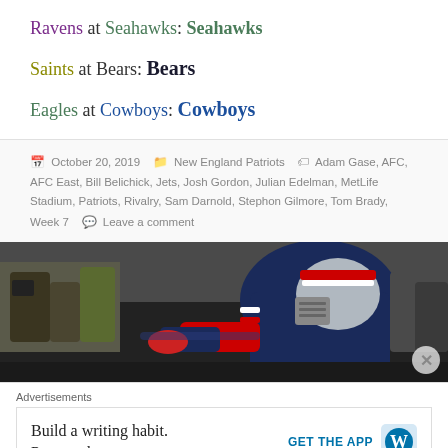Ravens at Seahawks: Seahawks
Saints at Bears: Bears
Eagles at Cowboys: Cowboys
October 20, 2019  New England Patriots  Adam Gase, AFC, AFC East, Bill Belichick, Jets, Josh Gordon, Julian Edelman, MetLife Stadium, Patriots, Rivalry, Sam Darnold, Stephon Gilmore, Tom Brady, Week 7  Leave a comment
[Figure (photo): New England Patriots player in navy uniform and silver/red helmet diving or leaning forward, photographers visible in background]
Advertisements
Build a writing habit. Post on the go. GET THE APP